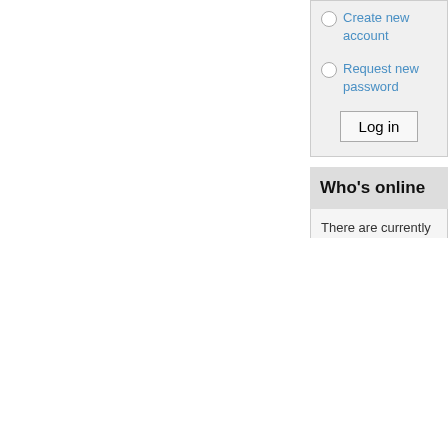Create new account
Request new password
Log in
Who's online
There are currently